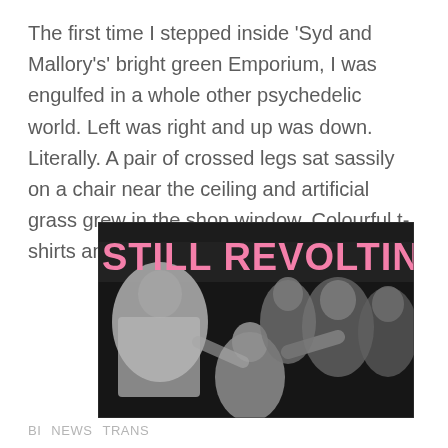The first time I stepped inside ‘Syd and Mallory’s’ bright green Emporium, I was engulfed in a whole other psychedelic world. Left was right and up was down. Literally. A pair of crossed legs sat sassily on a chair near the ceiling and artificial grass grew in the shop window. Colourful t-shirts and sweatshirts hung …
[Figure (photo): Black and white photograph of a group of people, with pink bold text overlay reading 'STILL REVOLTIN' across the top portion of the image. The photo shows several men, one shirtless, in what appears to be a crowded scene.]
BI   NEWS   TRANS